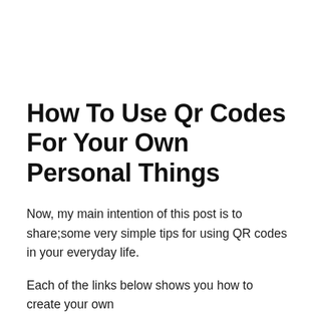How To Use Qr Codes For Your Own Personal Things
Now, my main intention of this post is to share;some very simple tips for using QR codes in your everyday life.
Each of the links below shows you how to create your own